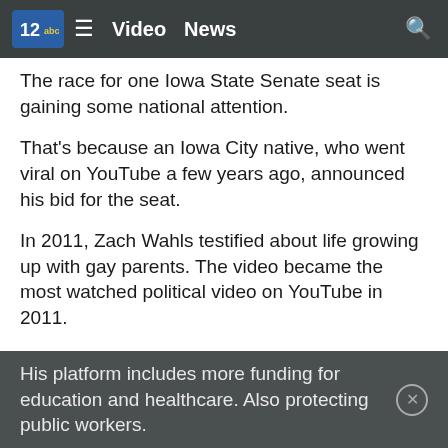Video  News
The race for one Iowa State Senate seat is gaining some national attention.
That's because an Iowa City native, who went viral on YouTube a few years ago, announced his bid for the seat.
In 2011, Zach Wahls testified about life growing up with gay parents. The video became the most watched political video on YouTube in 2011.
On Thursday, he made a different political statement.
"I'm running for this seat to fight for your families the same way I fought for mine," Wahls said.
His platform includes more funding for education and healthcare. Also protecting public workers.